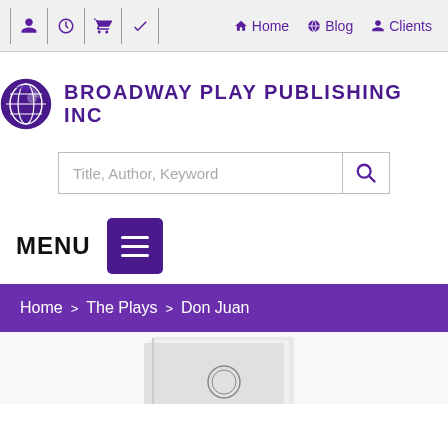Home | Blog | Clients (navigation toolbar)
[Figure (logo): Broadway Play Publishing Inc logo with globe icon]
Title, Author, Keyword (search box)
MENU
Home > The Plays > Don Juan
[Figure (photo): Partial book cover image at bottom of page]